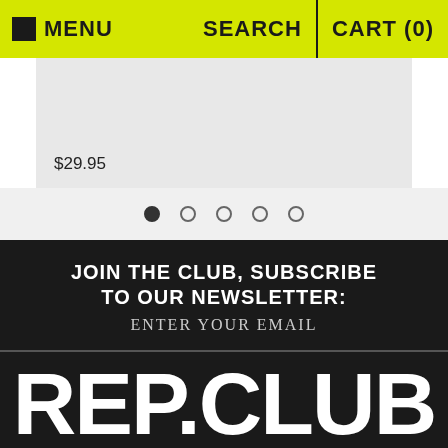■ MENU   SEARCH | CART (0)
$29.95
[Figure (other): Carousel navigation dots, first dot filled black, four remaining dots are empty circles]
JOIN THE CLUB, SUBSCRIBE TO OUR NEWSLETTER:
ENTER YOUR EMAIL
REP.CLUB
VISIT US: